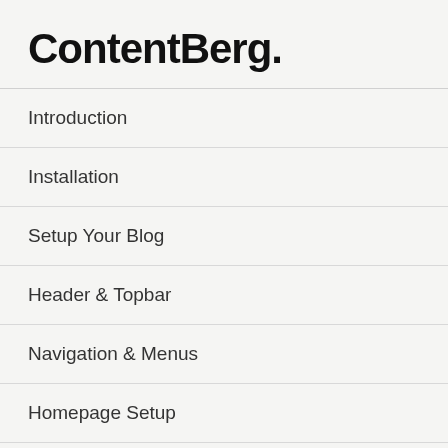ContentBerg.
Introduction
Installation
Setup Your Blog
Header & Topbar
Navigation & Menus
Homepage Setup
Homepage: Pagebuilder
Setup Categories
Adding Posts
Need more help or guidance? Check Frequently Asked Questions or register and use our Support Forums. ×
Side and